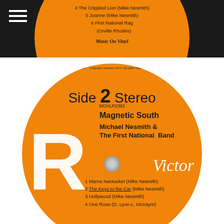[Figure (photo): Partial view of orange vinyl record label (Side 1) showing tracks 4-6 including 'The Crippled Lion (Mike Nesmith)', 'Joanne (Mike Nesmith)', '6 First National Rag (Orville Rhodes)', and 'Music On Vinyl' branding, on dark background with hamburger menu icon]
[Figure (photo): Full orange RCA Victor vinyl record label for Side 2 Stereo, MOVLP2392, of 'Magnetic South' by Michael Nesmith & The First National Band. Tracks: 1 Mama Nantucket (Mike Nesmith), 2 The Keys to the Car (Mike Nesmith), 3 Hollywood (Mike Nesmith), 4 One Rose (D. Lyon-L. McIntyre). Large white RCA letters on left, Victor in white italic on right.]